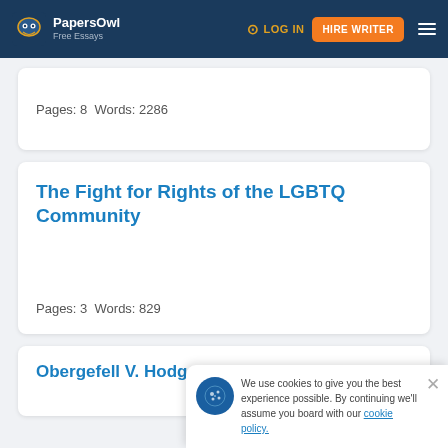PapersOwl Free Essays | LOG IN | HIRE WRITER
Pages: 8  Words: 2286
The Fight for Rights of the LGBTQ Community
Pages: 3  Words: 829
Obergefell V. Hodges Opinion
We use cookies to give you the best experience possible. By continuing we'll assume you board with our cookie policy.